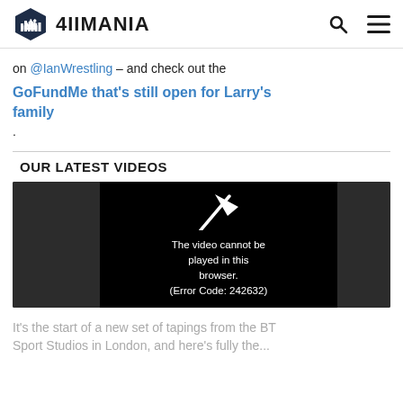4IIMANIA
on @IanWrestling – and check out the GoFundMe that's still open for Larry's family.
OUR LATEST VIDEOS
[Figure (screenshot): Video player showing error: The video cannot be played in this browser. (Error Code: 242632)]
It's the start of a new set of tapings from the BT Sport Studios in London, and here's fully the...